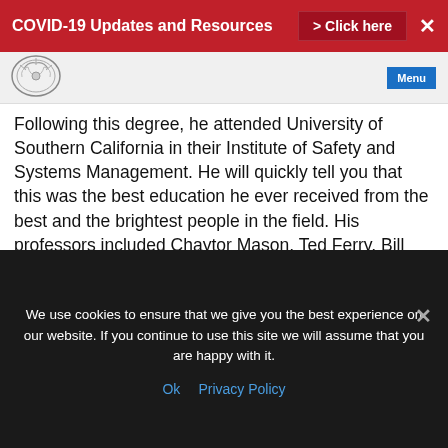COVID-19 Updates and Resources > Click here ✕
[Figure (logo): Circular logo/seal of an organization in the header area]
Following this degree, he attended University of Southern California in their Institute of Safety and Systems Management. He will quickly tell you that this was the best education he ever received from the best and the brightest people in the field. His professors included Chaytor Mason, Ted Ferry, Bill Petak, and Harry Hurt. His relationship with Professor Hurt led to his being selected as a team member collecting data for The Hurt Report. Published in 1980,
We use cookies to ensure that we give you the best experience on our website. If you continue to use this site we will assume that you are happy with it.
Ok   Privacy Policy